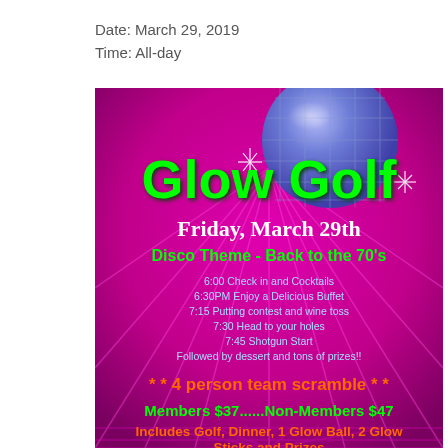Date: March 29, 2019
Time: All-day
[Figure (infographic): Glow Golf event flyer with magenta disco-themed background and disco ball. Text includes: Glow Golf, Friday March 29th, Disco Theme - Back to the 70's, schedule details, 4 person team scramble, Members $37......Non-Members $47, Includes Golf, Dinner, 1 Glow Ball, 2 Glow Sticks and Prizes]